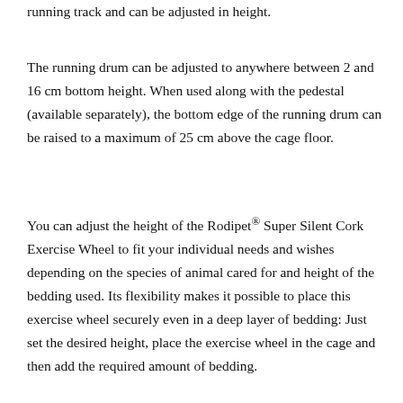running track and can be adjusted in height.
The running drum can be adjusted to anywhere between 2 and 16 cm bottom height. When used along with the pedestal (available separately), the bottom edge of the running drum can be raised to a maximum of 25 cm above the cage floor.
You can adjust the height of the Rodipet® Super Silent Cork Exercise Wheel to fit your individual needs and wishes depending on the species of animal cared for and height of the bedding used. Its flexibility makes it possible to place this exercise wheel securely even in a deep layer of bedding: Just set the desired height, place the exercise wheel in the cage and then add the required amount of bedding.